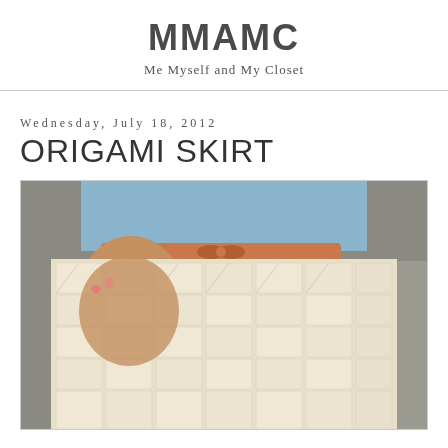MMAMC
Me Myself and My Closet
Wednesday, July 18, 2012
ORIGAMI SKIRT
[Figure (photo): Close-up photo of a woman wearing a cream/ivory origami ruffle skirt with a brown leather bow belt over a light blue top. The skirt features multiple rows of folded fabric squares creating a textured origami effect. Background is a blurred outdoor/street scene.]